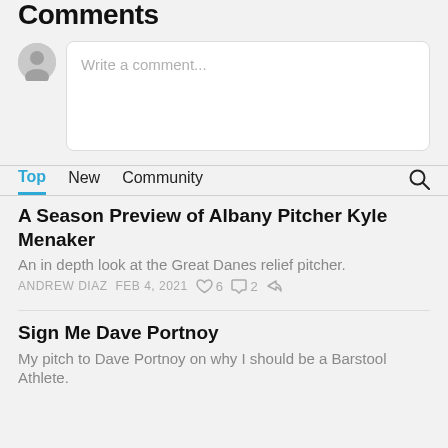Comments
[Figure (screenshot): Comment input area with avatar and placeholder text box saying 'Write a comment...']
Top   New   Community
A Season Preview of Albany Pitcher Kyle Menaker
An in depth look at the Great Danes relief pitcher.
ANDREW DIAZ   FEB 4, 2021   ♡ 6   ○ 2   ↗
Sign Me Dave Portnoy
My pitch to Dave Portnoy on why I should be a Barstool Athlete.